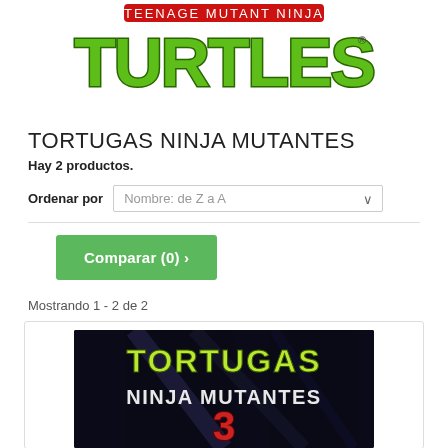[Figure (logo): Teenage Mutant Ninja Turtles logo — green graffiti-style lettering 'TURTLES' on white background]
TORTUGAS NINJA MUTANTES
Hay 2 productos.
Ordenar por   Nombre: de Z a A
Comparar (0) >
Mostrando 1 - 2 de 2
[Figure (photo): Product image: dark background with green text 'TORTUGAS NINJA MUTANTES 3']